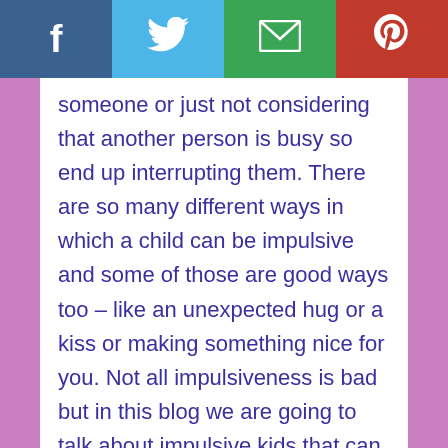f [facebook] [twitter] [email] [pinterest]
someone or just not considering that another person is busy so end up interrupting them. There are so many different ways in which a child can be impulsive and some of those are good ways too – like an unexpected hug or a kiss or making something nice for you. Not all impulsiveness is bad but in this blog we are going to talk about impulsive kids that can get them into trouble.